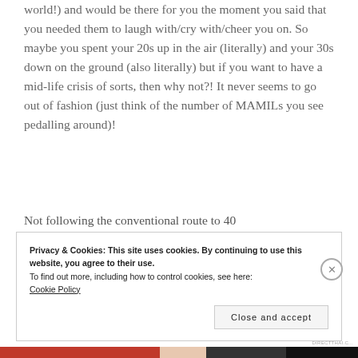world!) and would be there for you the moment you said that you needed them to laugh with/cry with/cheer you on. So maybe you spent your 20s up in the air (literally) and your 30s down on the ground (also literally) but if you want to have a mid-life crisis of sorts, then why not?! It never seems to go out of fashion (just think of the number of MAMILs you see pedalling around)!
Not following the conventional route to 40
Privacy & Cookies: This site uses cookies. By continuing to use this website, you agree to their use.
To find out more, including how to control cookies, see here:
Cookie Policy